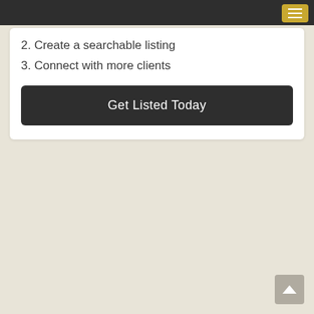2. Create a searchable listing
3. Connect with more clients
Get Listed Today